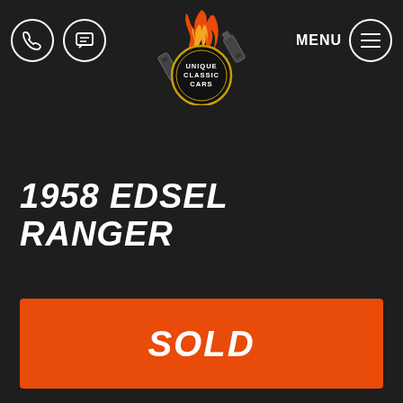[Figure (logo): Unique Classic Cars logo with flame and two pistons forming a circular emblem with text UNIQUE CLASSIC CARS]
1958 EDSEL RANGER
SOLD